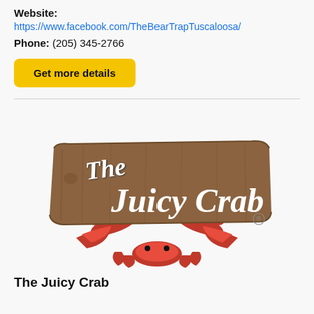Website:
https://www.facebook.com/TheBearTrapTuscaloosa/
Phone: (205) 345-2766
Get more details
[Figure (logo): The Juicy Crab restaurant logo: a cartoon crab holding up a rustic wooden sign with 'The Juicy Crab' in white script lettering, with a registered trademark symbol.]
The Juicy Crab